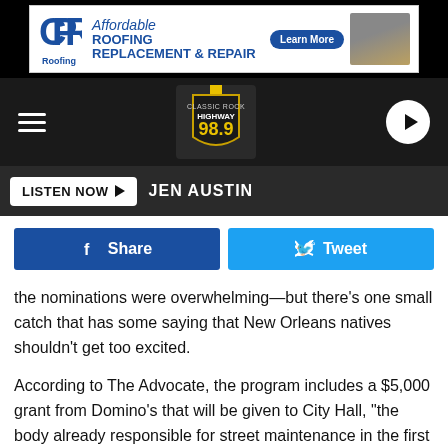[Figure (screenshot): CPR Roofing advertisement banner with logo, text 'Affordable ROOFING REPLACEMENT & REPAIR', a 'Learn More' button, and a photo of roofing.]
[Figure (screenshot): Highway 98.9 Classic Rock radio station navigation bar with hamburger menu, station shield logo, and play button.]
[Figure (screenshot): Listen Now bar with 'LISTEN NOW' button and 'JEN AUSTIN' label.]
[Figure (screenshot): Social share buttons: Facebook Share and Twitter Tweet.]
the nominations were overwhelming—but there's one small catch that has some saying that New Orleans natives shouldn't get too excited.
According to The Advocate, the program includes a $5,000 grant from Domino's that will be given to City Hall, "the body already responsible for street maintenance in the first place."
Domino's spokesperson Danielle Bulger said they also give the city a stencil kit to mark up the potholes repaired with